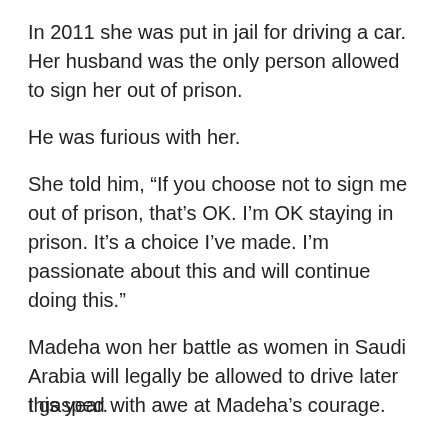In 2011 she was put in jail for driving a car. Her husband was the only person allowed to sign her out of prison.
He was furious with her.
She told him, “If you choose not to sign me out of prison, that’s OK. I’m OK staying in prison. It’s a choice I’ve made. I’m passionate about this and will continue doing this.”
Madeha won her battle as women in Saudi Arabia will legally be allowed to drive later this year.
I gasped with awe at Madeha’s courage.